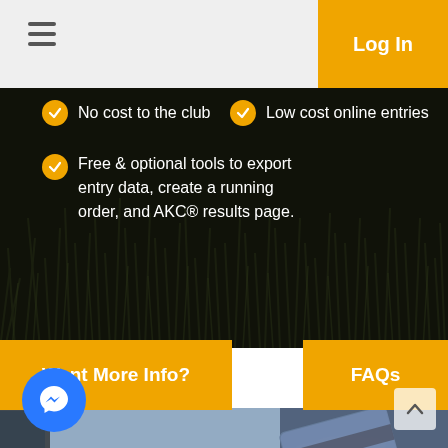Log In
No cost to the club
Low cost online entries
Free & optional tools to export entry data, create a running order, and AKC® results page.
Want More Info?
FAQs
[Figure (photo): Person holding a credit card while using a laptop keyboard, wearing a suit and watch]